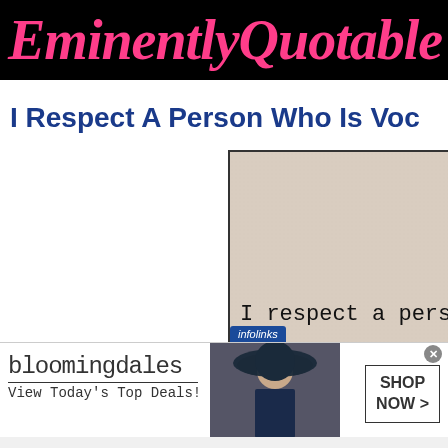EminentlyQuotable
I Respect A Person Who Is Voc
[Figure (illustration): Quote image on beige/tan textured background with text 'I respect a person wh' visible, partially cropped]
[Figure (infographic): Bloomingdale's advertisement banner: 'bloomingdales / View Today's Top Deals!' with woman wearing large hat, and 'SHOP NOW >' button]